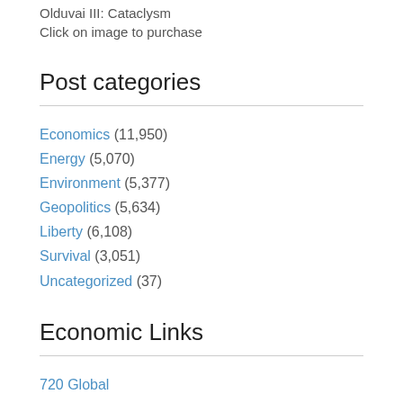Olduvai III: Cataclysm
Click on image to purchase
Post categories
Economics (11,950)
Energy (5,070)
Environment (5,377)
Geopolitics (5,634)
Liberty (6,108)
Survival (3,051)
Uncategorized (37)
Economic Links
720 Global